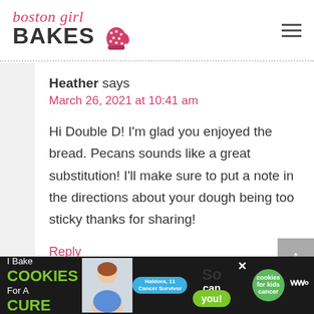boston girl BAKES
Heather says
March 26, 2021 at 10:41 am

Hi Double D! I'm glad you enjoyed the bread. Pecans sounds like a great substitution! I'll make sure to put a note in the directions about your dough being too sticky thanks for sharing!
Reply
[Figure (advertisement): Ad banner: I Bake COOKIES For A CURE with photo of child cancer survivor Haldora, 11, and 'So can you!' text with cookies for kids cancer logo]